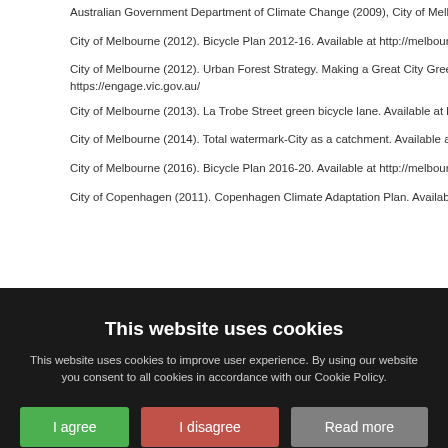Australian Government Department of Climate Change (2009), City of Melbourne. Available at https://www.melbourne.vic.gov.au/
City of Melbourne (2012). Bicycle Plan 2012-16. Available at http://melbourne.v...
City of Melbourne (2012). Urban Forest Strategy. Making a Great City Greener. Available at https://engage.vic.gov.au/
City of Melbourne (2013). La Trobe Street green bicycle lane. Available at http:...
City of Melbourne (2014). Total watermark-City as a catchment. Available at htt...
City of Melbourne (2016). Bicycle Plan 2016-20. Available at http://melbourne.v...
City of Copenhagen (2011). Copenhagen Climate Adaptation Plan. Available at...
This website uses cookies
This website uses cookies to improve user experience. By using our website you consent to all cookies in accordance with our Cookie Policy.
I agree | I disagree | Read more
Free cookie consent by cookie-script.com